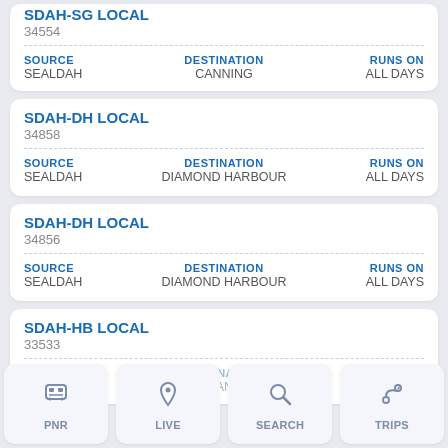SDAH-SG LOCAL
34554
SOURCE: SEALDAH | DESTINATION: CANNING | RUNS ON: ALL DAYS
SDAH-DH LOCAL
34858
SOURCE: SEALDAH | DESTINATION: DIAMOND HARBOUR | RUNS ON: ALL DAYS
SDAH-DH LOCAL
34856
SOURCE: SEALDAH | DESTINATION: DIAMOND HARBOUR | RUNS ON: ALL DAYS
SDAH-HB LOCAL
33533
SOURCE: SEALDAH | DESTINATION: HASANBAD | RUNS ON: ALL DAYS
PNR | LIVE | SEARCH | TRIPS